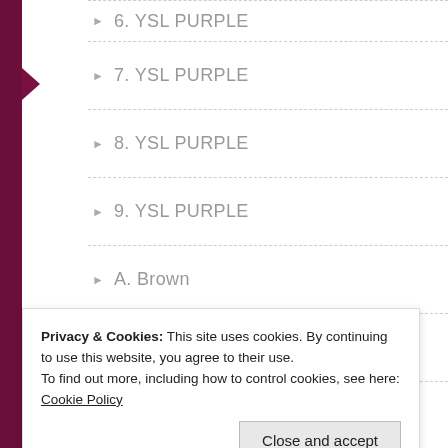6. YSL PURPLE
7. YSL PURPLE
8. YSL PURPLE
9. YSL PURPLE
A. Brown
A. Brown Sandstone
A. Gray
A. Gray Marble
A. Rainbow
A.Gray Sandstone
Absolute-Black-Granite
Privacy & Cookies: This site uses cookies. By continuing to use this website, you agree to their use.
To find out more, including how to control cookies, see here: Cookie Policy
Close and accept